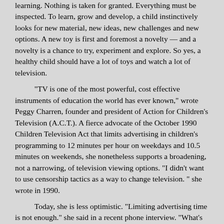learning. Nothing is taken for granted. Everything must be inspected. To learn, grow and develop, a child instinctively looks for new material, new ideas, new challenges and new options. A new toy is first and foremost a novelty — and a novelty is a chance to try, experiment and explore. So yes, a healthy child should have a lot of toys and watch a lot of television.
"TV is one of the most powerful, cost effective instruments of education the world has ever known," wrote Peggy Charren, founder and president of Action for Children's Television (A.C.T.). A fierce advocate of the October 1990 Children Television Act that limits advertising in children's programming to 12 minutes per hour on weekdays and 10.5 minutes on weekends, she nonetheless supports a broadening, not a narrowing, of television viewing options. "I didn't want to use censorship tactics as a way to change television. " she wrote in 1990.
Today, she is less optimistic. "Limiting advertising time is not enough." she said in a recent phone interview. "What's most harmful to children is the fast pace, chopped up and jarring quality of the latest commercials. Kids are subjected to constant interruptions. The 10.5-minute limit on advertising does not include all the station identification spots and programming